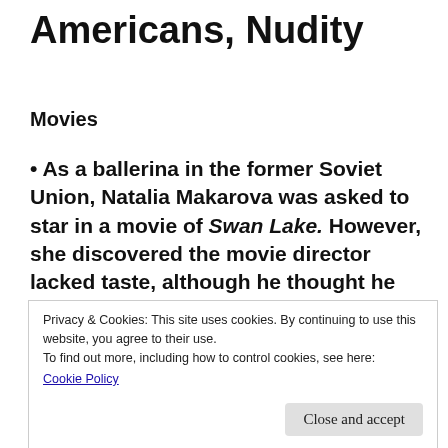Americans, Nudity
Movies
• As a ballerina in the former Soviet Union, Natalia Makarova was asked to star in a movie of Swan Lake. However, she discovered the movie director lacked taste, although he thought he was capable of teaching her how to dance the role of Odile. When he told her,
Privacy & Cookies: This site uses cookies. By continuing to use this website, you agree to their use.
To find out more, including how to control cookies, see here:
Cookie Policy

Close and accept
Odile.